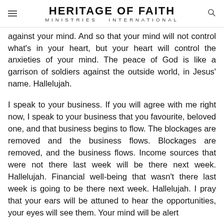HERITAGE OF FAITH MINISTRIES INTERNATIONAL
against your mind. And so that your mind will not control what's in your heart, but your heart will control the anxieties of your mind. The peace of God is like a garrison of soldiers against the outside world, in Jesus' name. Hallelujah.
I speak to your business. If you will agree with me right now, I speak to your business that you favourite, beloved one, and that business begins to flow. The blockages are removed and the business flows. Blockages are removed, and the business flows. Income sources that were not there last week will be there next week. Hallelujah. Financial well-being that wasn't there last week is going to be there next week. Hallelujah. I pray that your ears will be attuned to hear the opportunities, your eyes will see them. Your mind will be alert